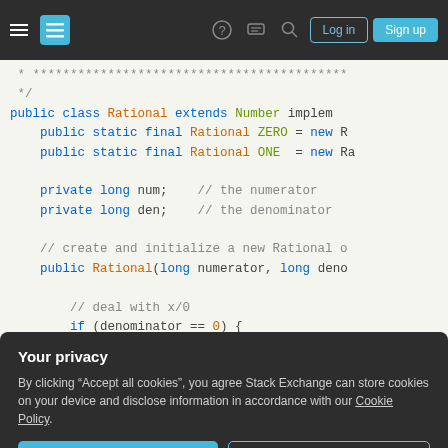Stack Exchange navigation bar with hamburger menu, logo, help, chat, search, Log in, Sign up
[Figure (screenshot): Syntax-highlighted Java source code showing a Rational class extending Number, with fields num and den, and a constructor starting with a x/0 check.]
Your privacy
By clicking "Accept all cookies", you agree Stack Exchange can store cookies on your device and disclose information in accordance with our Cookie Policy.
Accept all cookies   Customize settings
rational-numbers